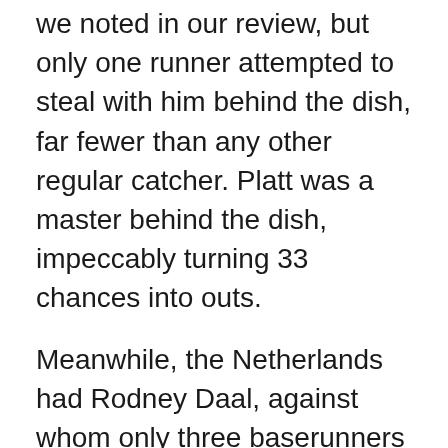we noted in our review, but only one runner attempted to steal with him behind the dish, far fewer than any other regular catcher. Platt was a master behind the dish, impeccably turning 33 chances into outs.
Meanwhile, the Netherlands had Rodney Daal, against whom only three baserunners tried to advance. Like Platt, the Orange receiver was perfect in his fielding, recording 39 chances without an error. Belgium and Austria both relied on a pair of catchers, and the tandems worked well. Belgium had Benjamin Goffaux and Axel Poesmans as a stellar combination, with the former also appearing at second and left without error, and Poesmans nabbing 5-of-10 thieves.
The Austrian side had Samuel Häckl and Michael Jäger working with pitchers, and neither made an error, though